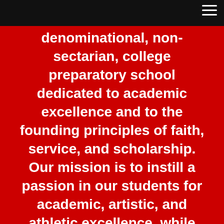denominational, non-sectarian, college preparatory school dedicated to academic excellence and to the founding principles of faith, service, and scholarship. Our mission is to instill a passion in our students for academic, artistic, and athletic excellence, while committing themselves to personal integrity, mutual respect, and lifelong learning. Grounded in Judeo-Christian values, the University School of Jackson provides an environment that stresses a respect for one another and all religions. Our focus on preparing our students for college